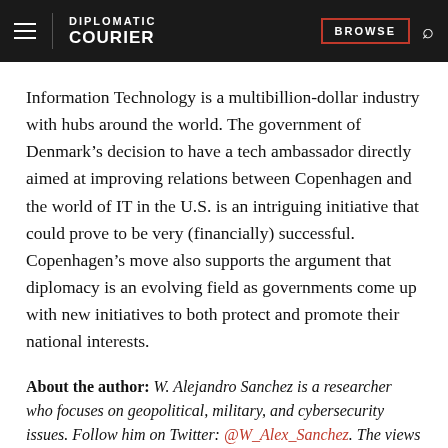DIPLOMATIC COURIER | BROWSE
Information Technology is a multibillion-dollar industry with hubs around the world. The government of Denmark’s decision to have a tech ambassador directly aimed at improving relations between Copenhagen and the world of IT in the U.S. is an intriguing initiative that could prove to be very (financially) successful. Copenhagen’s move also supports the argument that diplomacy is an evolving field as governments come up with new initiatives to both protect and promote their national interests.
About the author: W. Alejandro Sanchez is a researcher who focuses on geopolitical, military, and cybersecurity issues. Follow him on Twitter: @W_Alex_Sanchez. The views expressed in this article are those of the author